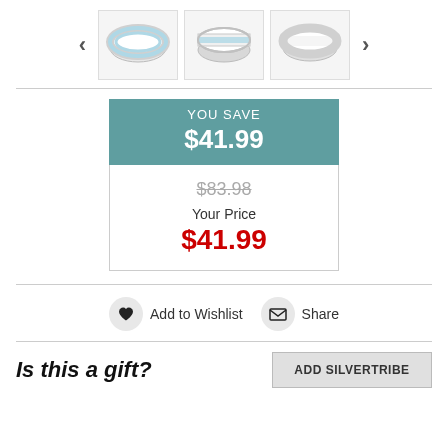[Figure (photo): Three thumbnail images of silver rings with light blue stripe detail, shown from different angles, with left and right navigation arrows]
YOU SAVE $41.99
$83.98 (strikethrough) Your Price $41.99
Add to Wishlist  Share
Is this a gift?
ADD SILVERTRIBE